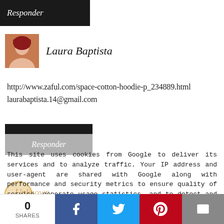Responder
Laura Baptista
http://www.zaful.com/space-cotton-hoodie-p_234889.html
laurabaptista.14@gmail.com
Responder
This site uses cookies from Google to deliver its services and to analyze traffic. Your IP address and user-agent are shared with Google along with performance and security metrics to ensure quality of service, generate usage statistics, and to detect and address abuse.
http://www.zaful.com/epaulet-embellished-suede-coat-with-
0
SHARES